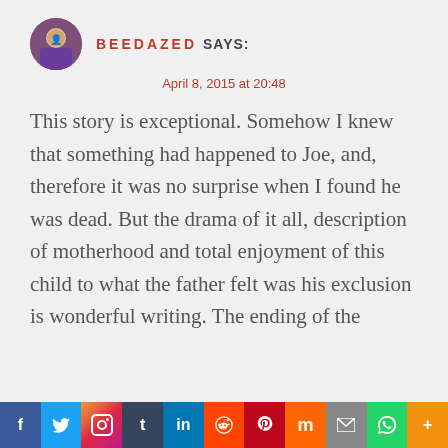BEEDAZED SAYS:
April 8, 2015 at 20:48
This story is exceptional. Somehow I knew that something had happened to Joe, and, therefore it was no surprise when I found he was dead. But the drama of it all, description of motherhood and total enjoyment of this child to what the father felt was his exclusion is wonderful writing. The ending of the